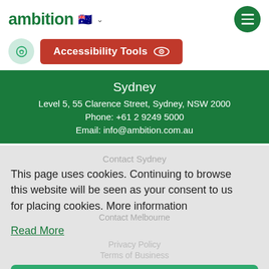ambition 🇦🇺 ∨
[Figure (screenshot): Phone icon button (light green circular button) and red Accessibility Tools button with eye icon]
Sydney
Level 5, 55 Clarence Street, Sydney, NSW 2000
Phone: +61 2 9249 5000
Email: info@ambition.com.au
Contact Sydney
This page uses cookies. Continuing to browse this website will be seen as your consent to us for placing cookies. More information
Contact Melbourne
Read More
Privacy Policy
Terms of Business
Got it!
2022 Ambition © All rights reserved
Website by volcanic